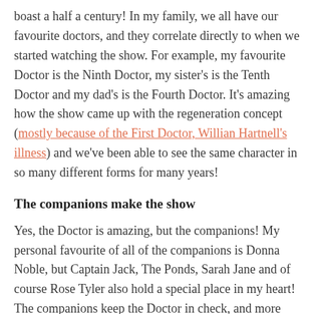boast a half a century! In my family, we all have our favourite doctors, and they correlate directly to when we started watching the show. For example, my favourite Doctor is the Ninth Doctor, my sister's is the Tenth Doctor and my dad's is the Fourth Doctor. It's amazing how the show came up with the regeneration concept (mostly because of the First Doctor, Willian Hartnell's illness) and we've been able to see the same character in so many different forms for many years!
The companions make the show
Yes, the Doctor is amazing, but the companions! My personal favourite of all of the companions is Donna Noble, but Captain Jack, The Ponds, Sarah Jane and of course Rose Tyler also hold a special place in my heart! The companions keep the Doctor in check, and more importantly they show how amazing humanity actually is.